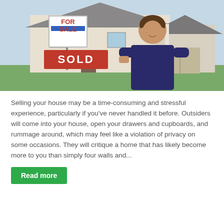[Figure (photo): A smiling woman in a dark blue blazer holding a red SOLD sign in front of a house with a FOR SALE sign visible in the background.]
Selling your house may be a time-consuming and stressful experience, particularly if you've never handled it before. Outsiders will come into your house, open your drawers and cupboards, and rummage around, which may feel like a violation of privacy on some occasions. They will critique a home that has likely become more to you than simply four walls and...
Read more